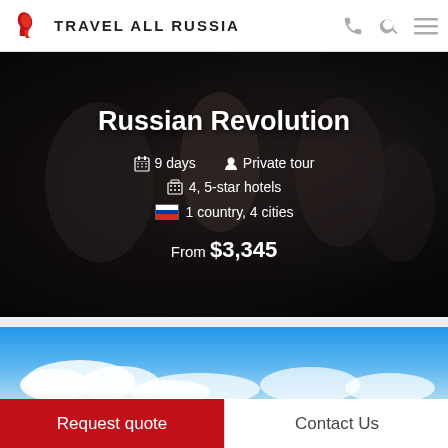TRAVEL ALL RUSSIA
[Figure (photo): Black and white historical photograph of Russian family (Romanovs) used as hero background for Russian Revolution tour page]
Russian Revolution
9 days   Private tour   4, 5-star hotels   1 country, 4 cities   From $3,345
[Figure (photo): Blue sky with white clouds photograph]
Request quote
Contact Us